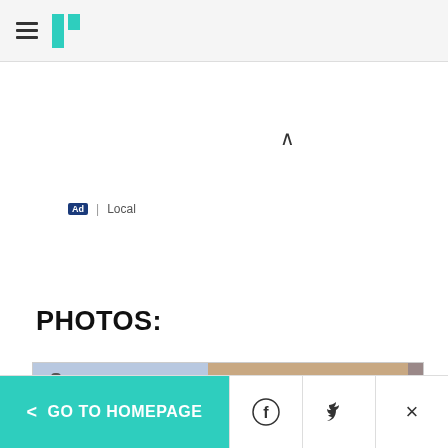HuffPost navigation header with hamburger menu and logo
∧
Ad | Local
PHOTOS:
[Figure (photo): Luxury Beauty advertisement carousel showing Burberry Body fragrance campaign with model, men's hair care products, and NARS cosmetics. Text reads 'LUXURY BEAUTY' and 'BURBERRY BODY' with 'SHOP NOW' button. Amazon.com branding visible.]
< GO TO HOMEPAGE  [Facebook] [Twitter] [X]